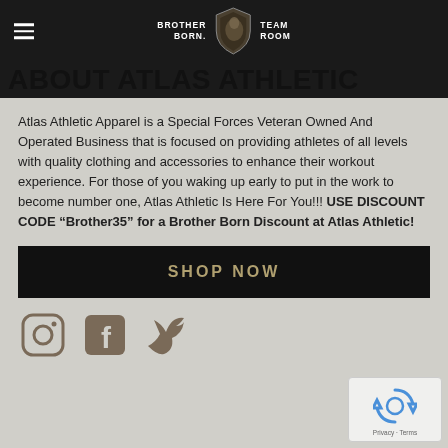BROTHER BORN. TEAM ROOM — About Atlas Athletic
ABOUT ATLAS ATHLETIC
Atlas Athletic Apparel is a Special Forces Veteran Owned And Operated Business that is focused on providing athletes of all levels with quality clothing and accessories to enhance their workout experience. For those of you waking up early to put in the work to become number one, Atlas Athletic Is Here For You!!! USE DISCOUNT CODE “Brother35” for a Brother Born Discount at Atlas Athletic!
[Figure (other): SHOP NOW button — black rectangle with text]
[Figure (other): Social media icons: Instagram, Facebook, Twitter in dark grey/brown]
[Figure (other): Google reCAPTCHA widget in bottom right corner showing Privacy · Terms]